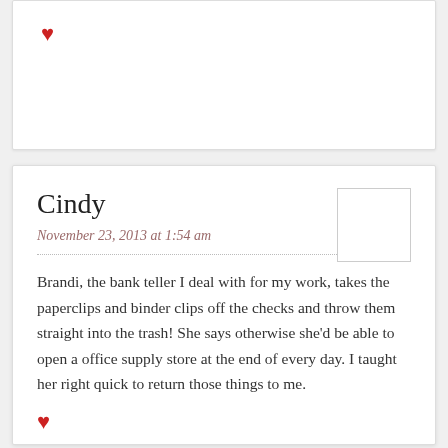[Figure (other): Red heart icon in top card area]
Cindy
November 23, 2013 at 1:54 am
Brandi, the bank teller I deal with for my work, takes the paperclips and binder clips off the checks and throw them straight into the trash! She says otherwise she'd be able to open a office supply store at the end of every day. I taught her right quick to return those things to me.
[Figure (other): Red heart icon at bottom of comment card]